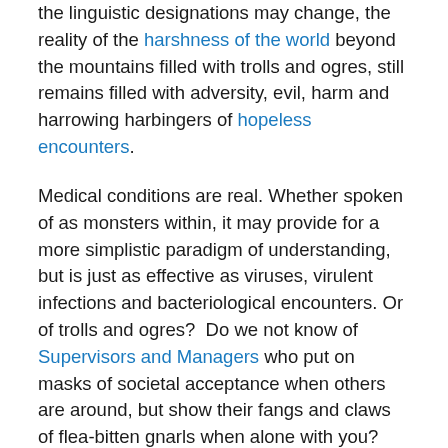the linguistic designations may change, the reality of the harshness of the world beyond the mountains filled with trolls and ogres, still remains filled with adversity, evil, harm and harrowing harbingers of hopeless encounters.
Medical conditions are real. Whether spoken of as monsters within, it may provide for a more simplistic paradigm of understanding, but is just as effective as viruses, virulent infections and bacteriological encounters. Or of trolls and ogres?  Do we not know of Supervisors and Managers who put on masks of societal acceptance when others are around, but show their fangs and claws of flea-bitten gnarls when alone with you?
Federal and Postal workers who must confront a medical condition, where the medical condition prevents one from performing one or more of the essential elements of one's